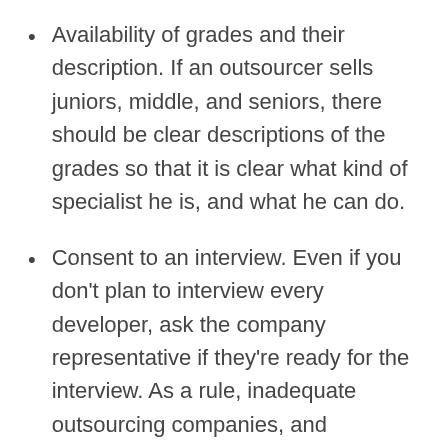Availability of grades and their description. If an outsourcer sells juniors, middle, and seniors, there should be clear descriptions of the grades so that it is clear what kind of specialist he is, and what he can do.
Consent to an interview. Even if you don't plan to interview every developer, ask the company representative if they're ready for the interview. As a rule, inadequate outsourcing companies, and interviews are treated positively.
Impersonal resumes + competency